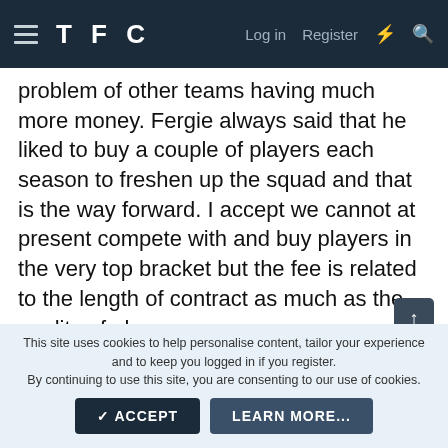TFC   Log in   Register
problem of other teams having much more money. Fergie always said that he liked to buy a couple of players each season to freshen up the squad and that is the way forward. I accept we cannot at present compete with and buy players in the very top bracket but the fee is related to the length of contract as much as the quality of player.
I do not want the club to have to integrate 7 players in a squad ever again.
We have sold Dembele, GKN and Llorente are clearly
This site uses cookies to help personalise content, tailor your experience and to keep you logged in if you register.
By continuing to use this site, you are consenting to our use of cookies.